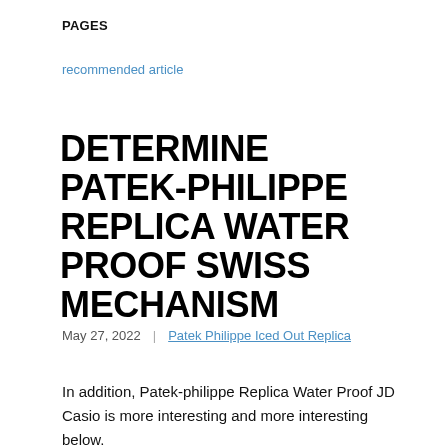PAGES
recommended article
DETERMINE PATEK-PHILIPPE REPLICA WATER PROOF SWISS MECHANISM
May 27, 2022  |  Patek Philippe Iced Out Replica
In addition, Patek-philippe Replica Water Proof JD Casio is more interesting and more interesting below.